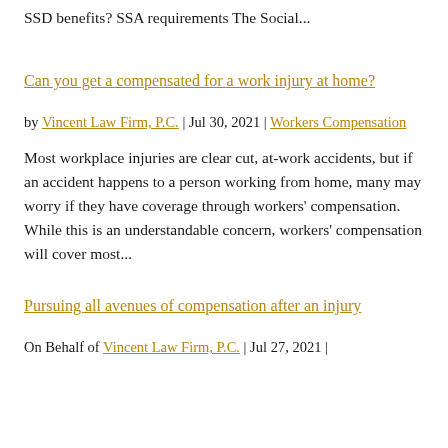SSD benefits? SSA requirements The Social...
Can you get a compensated for a work injury at home?
by Vincent Law Firm, P.C. | Jul 30, 2021 | Workers Compensation
Most workplace injuries are clear cut, at-work accidents, but if an accident happens to a person working from home, many may worry if they have coverage through workers' compensation. While this is an understandable concern, workers' compensation will cover most...
Pursuing all avenues of compensation after an injury
On Behalf of Vincent Law Firm, P.C. | Jul 27, 2021 |